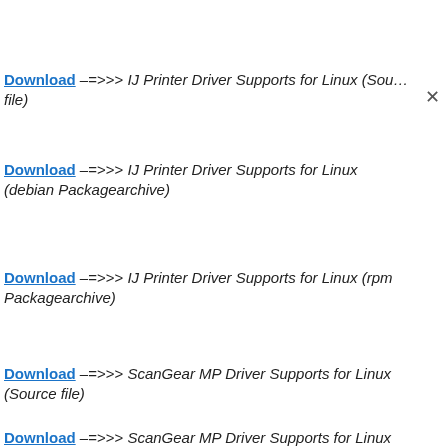Download –=>>> IJ Printer Driver Supports for Linux (Source file)
Download –=>>> IJ Printer Driver Supports for Linux (debian Packagearchive)
Download –=>>> IJ Printer Driver Supports for Linux (rpm Packagearchive)
Download –=>>> ScanGear MP Driver Supports for Linux (Source file)
Download –=>>> ScanGear MP Driver Supports for Linux